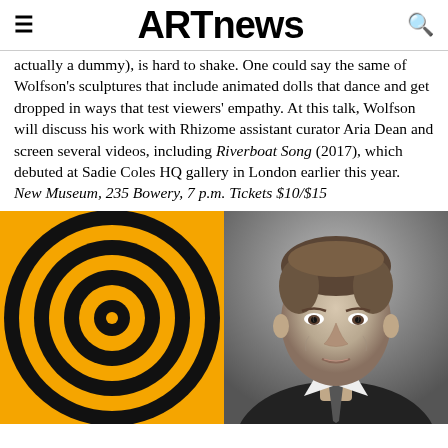ARTnews
actually a dummy), is hard to shake. One could say the same of Wolfson's sculptures that include animated dolls that dance and get dropped in ways that test viewers' empathy. At this talk, Wolfson will discuss his work with Rhizome assistant curator Aria Dean and screen several videos, including Riverboat Song (2017), which debuted at Sadie Coles HQ gallery in London earlier this year. New Museum, 235 Bowery, 7 p.m. Tickets $10/$15
[Figure (photo): Left: orange and black concentric circles (target/bullseye pattern). Right: black and white portrait photograph of Ronald Reagan in suit and tie.]